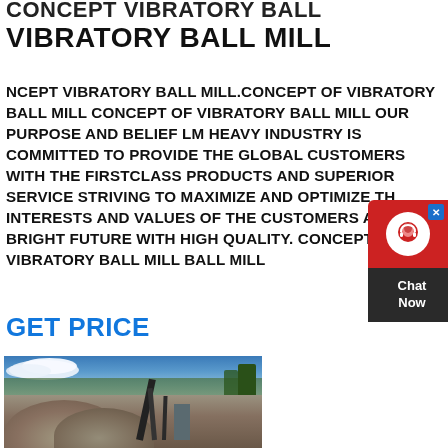CONCEPT VIBRATORY BALL MILL
NCEPT VIBRATORY BALL MILL.CONCEPT OF VIBRATORY BALL MILL CONCEPT OF VIBRATORY BALL MILL OUR PURPOSE AND BELIEF LM HEAVY INDUSTRY IS COMMITTED TO PROVIDE THE GLOBAL CUSTOMERS WITH THE FIRSTCLASS PRODUCTS AND SUPERIOR SERVICE STRIVING TO MAXIMIZE AND OPTIMIZE THE INTERESTS AND VALUES OF THE CUSTOMERS AND BUILD A BRIGHT FUTURE WITH HIGH QUALITY. CONCEPT OF VIBRATORY BALL MILL BALL MILL
GET PRICE
[Figure (photo): Industrial mining or quarrying site with a large pile of crushed stone/gravel, a conveyor belt structure, trees in the background, and a blue sky with clouds.]